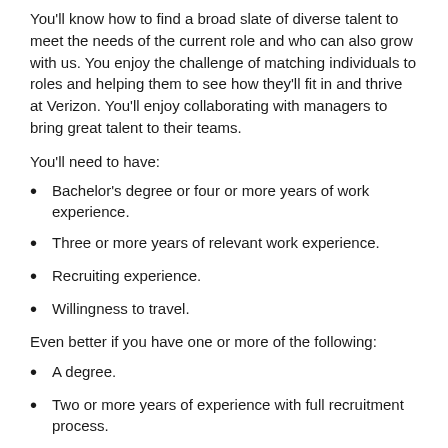You'll know how to find a broad slate of diverse talent to meet the needs of the current role and who can also grow with us. You enjoy the challenge of matching individuals to roles and helping them to see how they'll fit in and thrive at Verizon. You'll enjoy collaborating with managers to bring great talent to their teams.
You'll need to have:
Bachelor's degree or four or more years of work experience.
Three or more years of relevant work experience.
Recruiting experience.
Willingness to travel.
Even better if you have one or more of the following:
A degree.
Two or more years of experience with full recruitment process.
Experience sourcing top talent for a variety of roles in a competitive market.